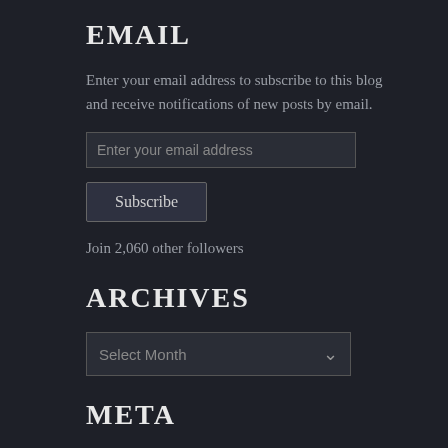EMAIL
Enter your email address to subscribe to this blog and receive notifications of new posts by email.
Enter your email address
Subscribe
Join 2,060 other followers
ARCHIVES
Select Month
META